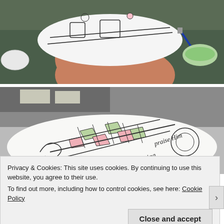[Figure (photo): A hand holding a ceramic bowl upside-down, showing painted decorative artwork on the bottom. A blue brush and a bowl of green glaze are visible in the background on a studio table.]
[Figure (photo): Close-up of a ceramic bowl decorated with colorful painted leaf and abstract patterns in pink, green, and white with black outlines. Text on the bowl reads 'praise Him' and 'cing'.]
Privacy & Cookies: This site uses cookies. By continuing to use this website, you agree to their use.
To find out more, including how to control cookies, see here: Cookie Policy
Close and accept